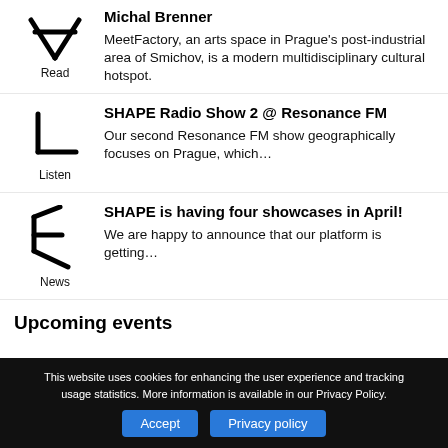Michal Brenner
MeetFactory, an arts space in Prague's post-industrial area of Smichov, is a modern multidisciplinary cultural hotspot.
SHAPE Radio Show 2 @ Resonance FM
Our second Resonance FM show geographically focuses on Prague, which…
SHAPE is having four showcases in April!
We are happy to announce that our platform is getting…
Upcoming events
This website uses cookies for enhancing the user experience and tracking usage statistics. More information is available in our Privacy Policy.